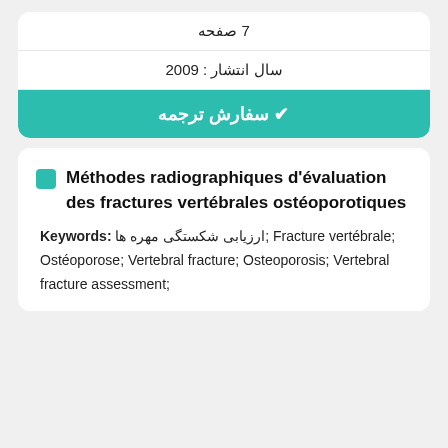7 صفحه
سال انتشار : 2009
✔ سفارش ترجمه
Méthodes radiographiques d'évaluation des fractures vertébrales ostéoporotiques
Keywords: ارزیابی شکستگی مهره ها; Fracture vertébrale; Ostéoporose; Vertebral fracture; Osteoporosis; Vertebral fracture assessment;